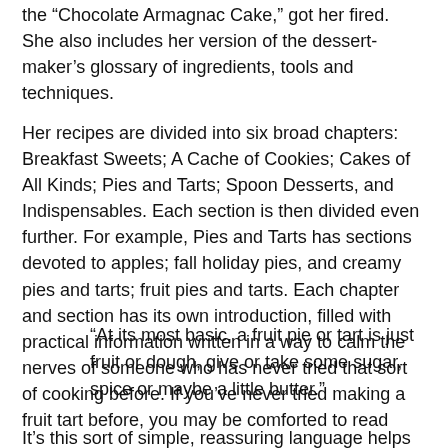the “Chocolate Armagnac Cake,” got her fired. She also includes her version of the dessert-maker’s glossary of ingredients, tools and techniques.
Her recipes are divided into six broad chapters: Breakfast Sweets; A Cache of Cookies; Cakes of All Kinds; Pies and Tarts; Spoon Desserts, and Indispensables. Each section is then divided even further. For example, Pies and Tarts has sections devoted to apples; fall holiday pies, and creamy pies and tarts; fruit pies and tarts. Each chapter and section has its own introduction, filled with practical information written in a way to calm the nerves of someone who has never tried that sort of cooking before. If you’ve never tried making a fruit tart before, you may be comforted to read
“At its most basic, a fruit pie or tart is just fruit or dough, give or take some sugar, spice or maybe a little butter.”
It’s this sort of simple, reassuring language helps muster up